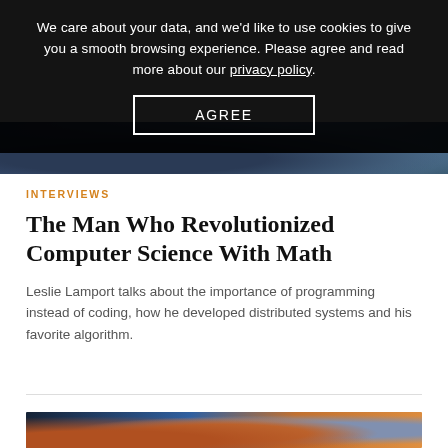We care about your data, and we'd like to use cookies to give you a smooth browsing experience. Please agree and read more about our privacy policy.
AGREE
[Figure (photo): Partial photo of a person visible below the cookie consent overlay, appears to show someone in a blue garment]
INTERVIEWS
The Man Who Revolutionized Computer Science With Math
Leslie Lamport talks about the importance of programming instead of coding, how he developed distributed systems and his favorite algorithm.
[Figure (photo): Bottom portion of a photo showing what appears to be a scientific or technology-related scene with orange and blue tones]